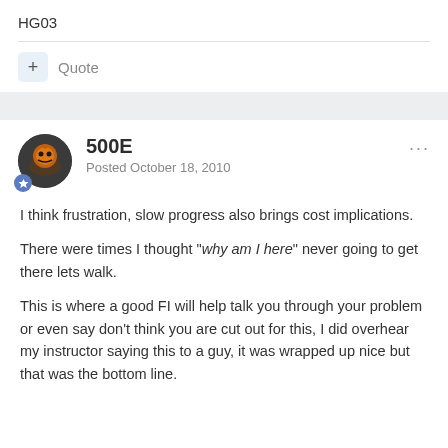HG03
Quote
500E
Posted October 18, 2010
I think frustration, slow progress also brings cost implications.

There were times I thought "why am I here" never going to get there lets walk.

This is where a good FI will help talk you through your problem or even say don't think you are cut out for this, I did overhear my instructor saying this to a guy, it was wrapped up nice but that was the bottom line.